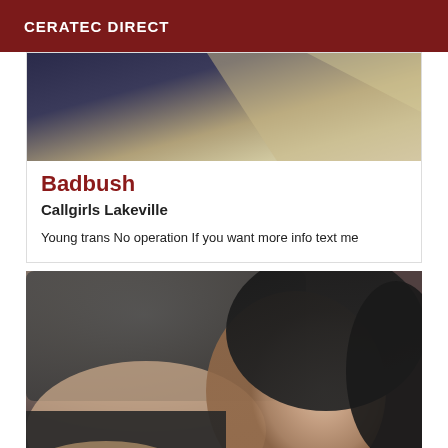CERATEC DIRECT
[Figure (photo): Top portion of a photo, partially cropped, showing dark fabric and a light-colored surface]
Badbush
Callgirls Lakeville
Young trans No operation If you want more info text me
[Figure (photo): Photo of a young person with dark hair lying against a dark sofa, looking at camera]